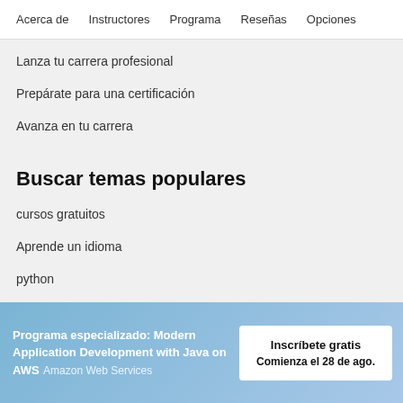Acerca de    Instructores    Programa    Reseñas    Opciones
Lanza tu carrera profesional
Prepárate para una certificación
Avanza en tu carrera
Buscar temas populares
cursos gratuitos
Aprende un idioma
python
Programa especializado: Modern Application Development with Java on AWS
Amazon Web Services
Inscríbete gratis
Comienza el 28 de ago.